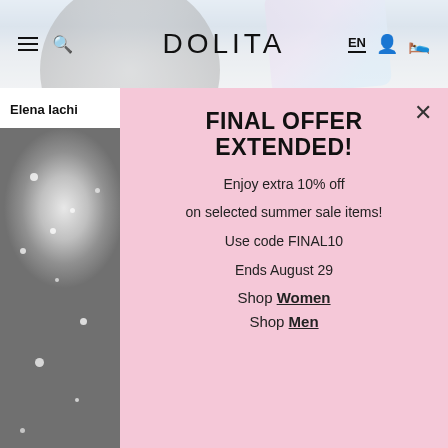DOLITA
Elena Iachi
[Figure (photo): Black and white fashion photo of a woman looking upward, wearing a fluffy coat, with snow/bokeh effects]
FINAL OFFER EXTENDED!
Enjoy extra 10% off
on selected summer sale items!
Use code FINAL10
Ends August 29
Shop Women
Shop Men